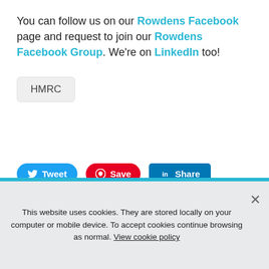You can follow us on our Rowdens Facebook page and request to join our Rowdens Facebook Group. We're on LinkedIn too!
HMRC
[Figure (other): Social sharing buttons: Tweet (Twitter/blue), Save (Pinterest/red), Share (LinkedIn/blue)]
ROWDENS — This website uses cookies. They are stored locally on your computer or mobile device. To accept cookies continue browsing as normal. View cookie policy